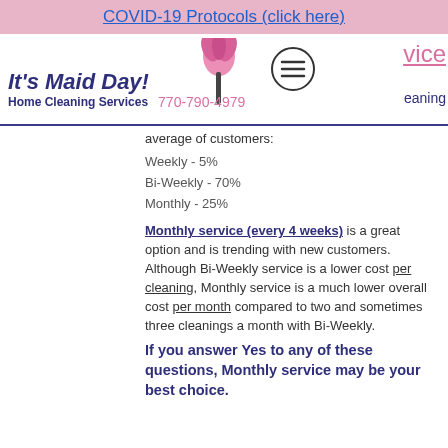COVID-19 Protocols (click here)
[Figure (logo): It's Maid Day! Home Cleaning Services logo with pink feather duster, menu hamburger icon, phone number 770-790-4979, and partial text 'vice' and 'eaning' on the right]
average of customers:
Weekly - 5%
Bi-Weekly - 70%
Monthly - 25%
Monthly service (every 4 weeks) is a great option and is trending with new customers. Although Bi-Weekly service is a lower cost per cleaning, Monthly service is a much lower overall cost per month compared to two and sometimes three cleanings a month with Bi-Weekly.
If you answer Yes to any of these questions, Monthly service may be your best choice.